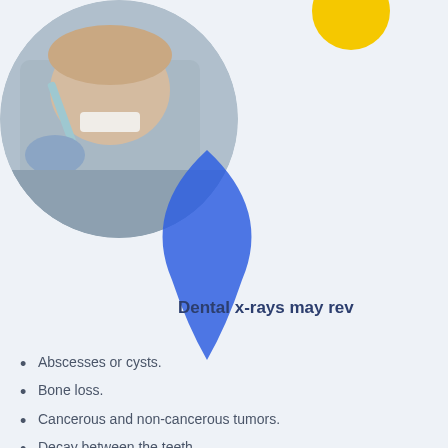[Figure (photo): Circular cropped photo of a dental patient having dental work done, with a gloved dentist using a dental tool. Blue teardrop decorative shape overlaps at bottom. Yellow circle decoration in top right corner.]
Dental x-rays may rev
Abscesses or cysts.
Bone loss.
Cancerous and non-cancerous tumors.
Decay between the teeth.
Developmental abnormalities.
Poor tooth and root positions.
Problems inside a tooth or below the gum line.
Detecting and treating dental problems at an early stage can save you time, money, unnecessary